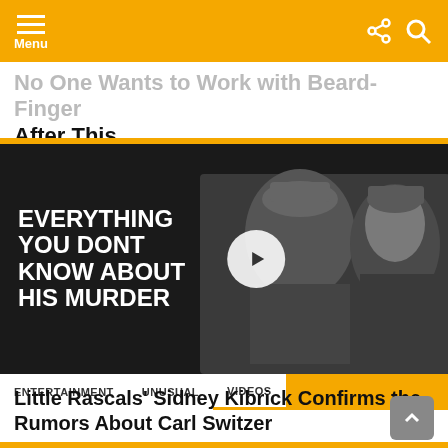Menu
No One Wants to Work with Beard-Finger After This
[Figure (screenshot): Black and white video thumbnail showing two boys from Little Rascals with text overlay 'EVERYTHING YOU DONT KNOW ABOUT HIS MURDER' and a play button in the center]
ENTERTAINMENT   UNUSUAL   VIDEOS
Little Rascals' Sidney Kibrick Confirms the Rumors About Carl Switzer